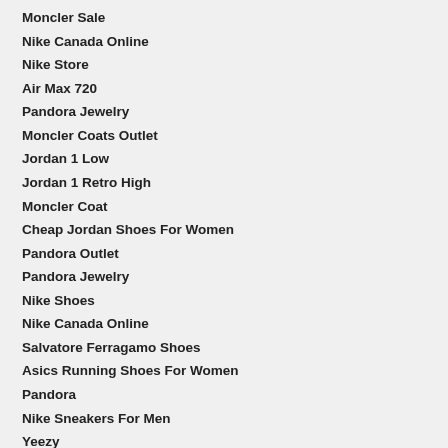Moncler Sale
Nike Canada Online
Nike Store
Air Max 720
Pandora Jewelry
Moncler Coats Outlet
Jordan 1 Low
Jordan 1 Retro High
Moncler Coat
Cheap Jordan Shoes For Women
Pandora Outlet
Pandora Jewelry
Nike Shoes
Nike Canada Online
Salvatore Ferragamo Shoes
Asics Running Shoes For Women
Pandora
Nike Sneakers For Men
Yeezy
Cheap Moncler Coats
Adidas NMD
Asics Sneakers